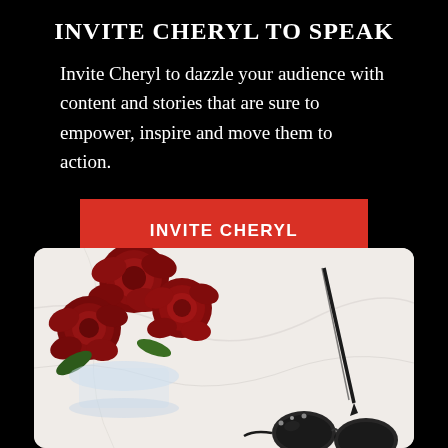INVITE CHERYL TO SPEAK
Invite Cheryl to dazzle your audience with content and stories that are sure to empower, inspire and move them to action.
[Figure (other): Red call-to-action button reading INVITE CHERYL on black background]
[Figure (photo): Overhead flat-lay photo showing deep red roses in a glass vase on a white marble surface, with black sunglasses and a pen/stylus visible]